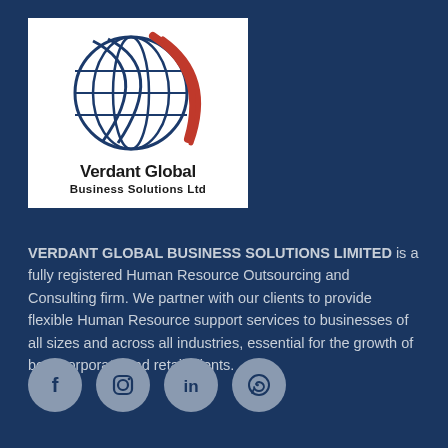[Figure (logo): Verdant Global Business Solutions Ltd logo: globe with grid lines and red swoosh arc, bold text 'Verdant Global Business Solutions Ltd' on white background]
VERDANT GLOBAL BUSINESS SOLUTIONS LIMITED is a fully registered Human Resource Outsourcing and Consulting firm. We partner with our clients to provide flexible Human Resource support services to businesses of all sizes and across all industries, essential for the growth of both corporate and retail clients.
[Figure (illustration): Social media icons row: Facebook, Instagram, LinkedIn, WhatsApp — grey circular buttons]